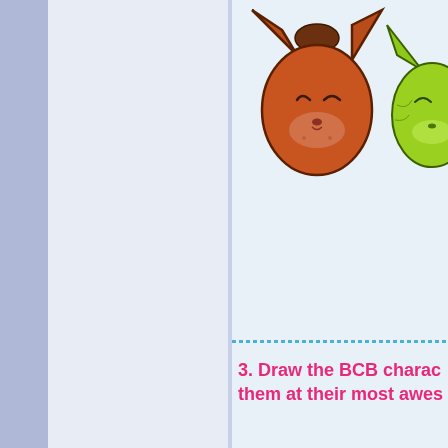[Figure (illustration): Two cartoon cat character heads: a large brown/rust-colored cat face on the left and a smaller green cat face on the right, partially cropped, drawn in a simple sketchy style.]
3. Draw the BCB charac them at their most awes